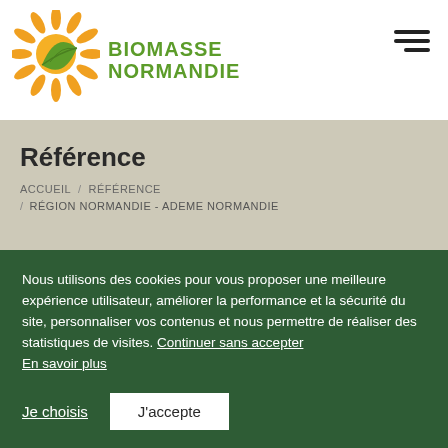Biomasse Normandie
Référence
ACCUEIL / RÉFÉRENCE / RÉGION NORMANDIE - ADEME NORMANDIE
Nous utilisons des cookies pour vous proposer une meilleure expérience utilisateur, améliorer la performance et la sécurité du site, personnaliser vos contenus et nous permettre de réaliser des statistiques de visites. Continuer sans accepter
En savoir plus
Je choisis   J'accepte